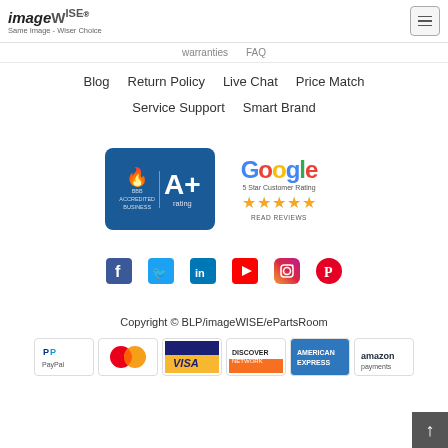[Figure (logo): imageWISE logo with text 'Same Image - Wiser Choice']
warranties  |  FAQ
Blog
Return Policy
Live Chat
Price Match
Service Support
Smart Brand
[Figure (logo): BBB Accredited Business A+ rating badge]
[Figure (logo): Google 5 Star Customer Rating badge with stars and READ REVIEWS link]
[Figure (logo): Social media icons: Facebook, Twitter, LinkedIn, YouTube, Instagram, Pinterest]
Copyright © BLP/imageWISE/ePartsRoom
[Figure (logo): Payment method logos: PayPal, MasterCard, Visa, Discover, American Express, Amazon Payments]